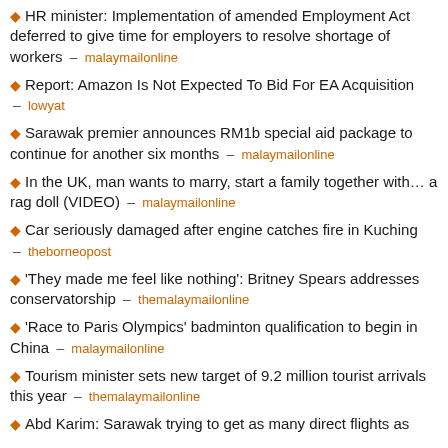HR minister: Implementation of amended Employment Act deferred to give time for employers to resolve shortage of workers – malaymailonline
Report: Amazon Is Not Expected To Bid For EA Acquisition – lowyat
Sarawak premier announces RM1b special aid package to continue for another six months – malaymailonline
In the UK, man wants to marry, start a family together with… a rag doll (VIDEO) – malaymailonline
Car seriously damaged after engine catches fire in Kuching – theborneopost
'They made me feel like nothing': Britney Spears addresses conservatorship – themalaymailonline
'Race to Paris Olympics' badminton qualification to begin in China – malaymailonline
Tourism minister sets new target of 9.2 million tourist arrivals this year – themalaymailonline
Abd Karim: Sarawak trying to get as many direct flights as